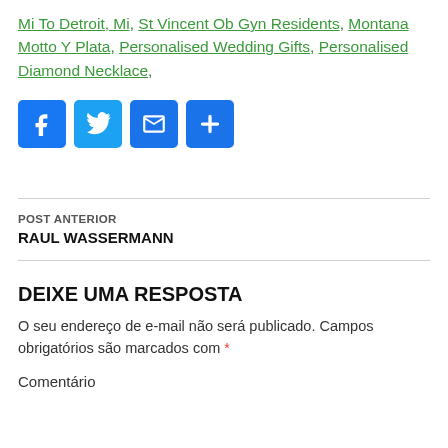Mi To Detroit, Mi, St Vincent Ob Gyn Residents, Montana Motto Y Plata, Personalised Wedding Gifts, Personalised Diamond Necklace,
[Figure (infographic): Four social sharing buttons: Facebook (blue), Twitter (light blue), Email (blue envelope), Share/Plus (blue)]
POST ANTERIOR
RAUL WASSERMANN
DEIXE UMA RESPOSTA
O seu endereço de e-mail não será publicado. Campos obrigatórios são marcados com *
Comentário